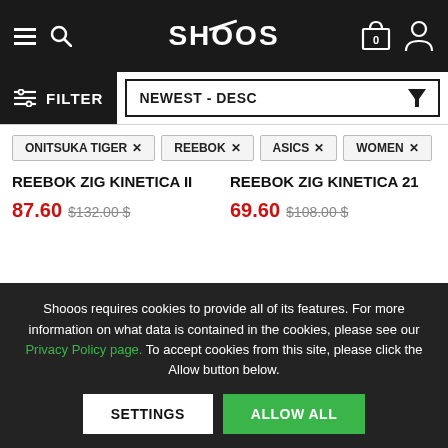SHOOOS
FILTER | NEWEST - DESC
ONITSUKA TIGER ×
REEBOK ×
ASICS ×
WOMEN ×
REEBOK ZIG KINETICA II
87.60 $132.00 $
REEBOK ZIG KINETICA 21
69.60 $108.00 $
Shooos requires cookies to provide all of its features. For more information on what data is contained in the cookies, please see our Privacy Policy page. To accept cookies from this site, please click the Allow button below.
SETTINGS | ALLOW ALL